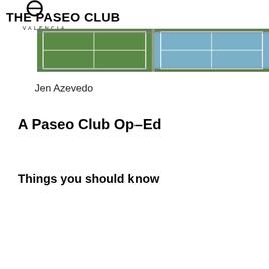[Figure (logo): The Paseo Club Valencia logo — circle icon above bold text THE PASEO CLUB with VALENCIA in spaced capitals beneath]
[Figure (photo): Tennis court aerial/wide view with green and blue courts separated by a net with chain-link fencing visible]
Jen Azevedo
A Paseo Club Op-Ed
Things you should know